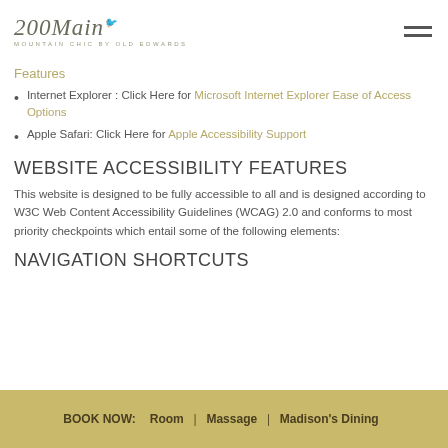[Figure (logo): 200Main logo with text 'MOUNTAIN CHIC BY OLD EDWARDS' and hamburger menu icon]
Features
Internet Explorer : Click Here for Microsoft Internet Explorer Ease of Access Options
Apple Safari: Click Here for Apple Accessibility Support
WEBSITE ACCESSIBILITY FEATURES
This website is designed to be fully accessible to all and is designed according to W3C Web Content Accessibility Guidelines (WCAG) 2.0 and conforms to most priority checkpoints which entail some of the following elements:
NAVIGATION SHORTCUTS
BOOK NOW:  Room  |  Massage  |  Madison's Dining